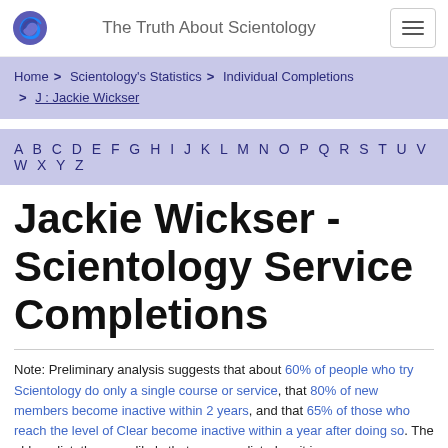The Truth About Scientology
Home > Scientology's Statistics > Individual Completions > J : Jackie Wickser
A B C D E F G H I J K L M N O P Q R S T U V W X Y Z
Jackie Wickser - Scientology Service Completions
Note: Preliminary analysis suggests that about 60% of people who try Scientology do only a single course or service, that 80% of new members become inactive within 2 years, and that 65% of those who reach the level of Clear become inactive within a year after doing so. The older a list, the more likely that a person listed on it is